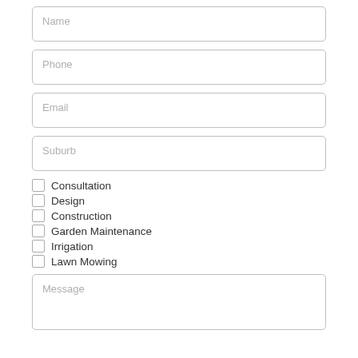Name
Phone
Email
Suburb
Consultation
Design
Construction
Garden Maintenance
Irrigation
Lawn Mowing
Message